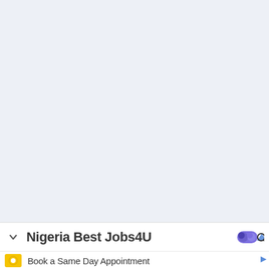[Figure (screenshot): Large light blue-grey empty area taking up most of the page, representing a mostly blank webpage background]
Nigeria Best Jobs4U
Book a Same Day Appointment